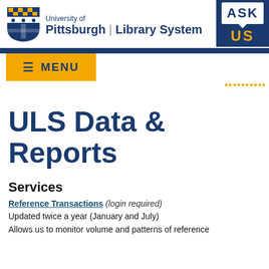University of Pittsburgh | Library System
[Figure (logo): University of Pittsburgh shield logo in blue and gold]
[Figure (infographic): ASK US button/badge in navy blue with gold 'US' text]
[Figure (infographic): Gold hamburger menu button with MENU text in navy]
[Figure (infographic): Gold chevron/arrow decorations pointing right]
ULS Data & Reports
Services
Reference Transactions (login required)
Updated twice a year (January and July)
Allows us to monitor volume and patterns of reference